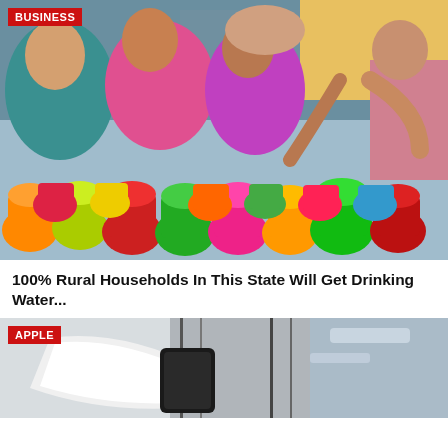[Figure (photo): Women collecting water in colorful plastic jugs and pots at a water distribution point in India. Many brightly colored (red, green, orange, yellow, pink) water containers in the foreground. BUSINESS tag label overlay.]
100% Rural Households In This State Will Get Drinking Water...
[Figure (photo): Black and white close-up photo of what appears to be Apple product or car exterior. APPLE tag label overlay.]